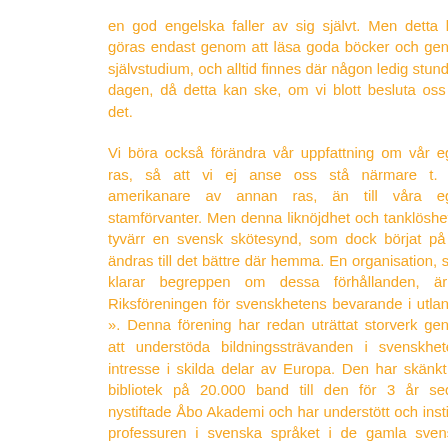en god engelska faller av sig självt. Men detta kan göras endast genom att läsa goda böcker och genom självstudium, och alltid finnes där någon ledig stund på dagen, då detta kan ske, om vi blott besluta oss för det.

Vi böra också förändra vår uppfattning om vår egen ras, så att vi ej anse oss stå närmare t. ex. amerikanare av annan ras, än till våra egna stamförvanter. Men denna liknöjdhet och tanklöshet är tyvärr en svensk skötesynd, som dock börjat på att ändras till det bättre där hemma. En organisation, som klarar begreppen om dessa förhållanden, är « Riksföreningen för svenskhetens bevarande i utlandet ». Denna förening har redan uträttat storverk genom att understöda bildningssträvanden i svenskhetens intresse i skilda delar av Europa. Den har skänkt ett bibliotek på 20.000 band till den för 3 år sedan nystiftade Åbo Akademi och har understött och instiftat professuren i svenska språket i de gamla svenska universiteten i Reval i Estland och i Greifswald i Tyskland. Den strävar naturligtvis icke att få dessa länder eller dess befolkning tillbaka till Sverige. För ingen del! Men den strävar att bibehålla svenskhetskänslan hos svenska ättlingar, som